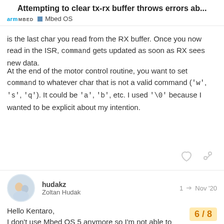Attempting to clear tx-rx buffer throws errors ab...
is the last char you read from the RX buffer. Once you now read in the ISR, command gets updated as soon as RX sees new data.
At the end of the motor control routine, you want to set command to whatever char that is not a valid command ('w', 's', 'q'). It could be 'a', 'b', etc. I used '\0' because I wanted to be explicit about my intention.
hudakz
Zoltan Hudak
1 Nov '20
Hello Kentaro,
I don't use Mbed OS 5 anymore so I'm not able to verify it. I could be mistaken, but for the sake of c...
6 / 8